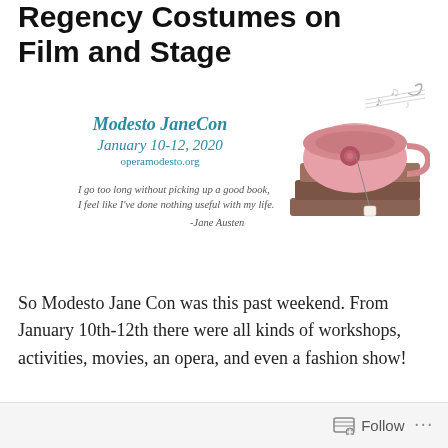Regency Costumes on Film and Stage
[Figure (other): Modesto JaneCon event banner with teacup and books imagery. Text reads: Modesto JaneCon January 10-12, 2020 operamodesto.org. Quote: I go too long without picking up a good book, I feel like I've done nothing useful with my life. -Jane Austen]
So Modesto Jane Con was this past weekend. From January 10th-12th there were all kinds of workshops, activities, movies, an opera, and even a fashion show!
[Figure (photo): Black and white photo of a person, partially visible, cropped at the bottom of the page.]
Follow